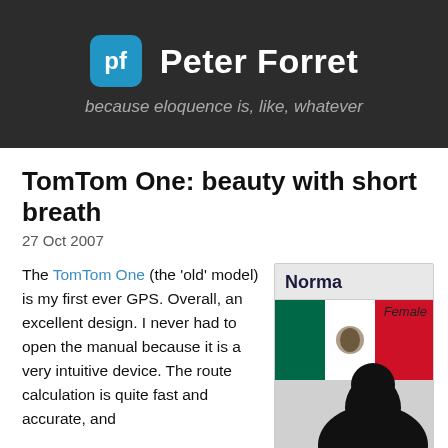Peter Forret — because eloquence is, like, whatever
TomTom One: beauty with short breath
27 Oct 2007
The TomTom One (the 'old' model) is my first ever GPS. Overall, an excellent design. I never had to open the manual because it is a very intuitive device. The route calculation is quite fast and accurate, and
[Figure (screenshot): A TomTom GPS voice profile widget titled 'Norma', showing a Mexican flag icon with 'Female' label and a dark silhouette image of a person.]